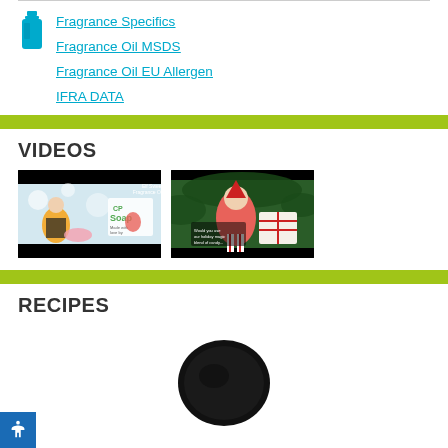Fragrance Specifics
Fragrance Oil MSDS
Fragrance Oil EU Allergen
IFRA DATA
VIDEOS
[Figure (screenshot): Video thumbnail showing a woman in apron with CP Soap text and an elf character with fragrance oil branding]
[Figure (screenshot): Video thumbnail showing a colorful elf character with candy cane wrapped gift boxes and green Christmas background]
RECIPES
[Figure (photo): Dark circular soap or bath product viewed from above, partially visible]